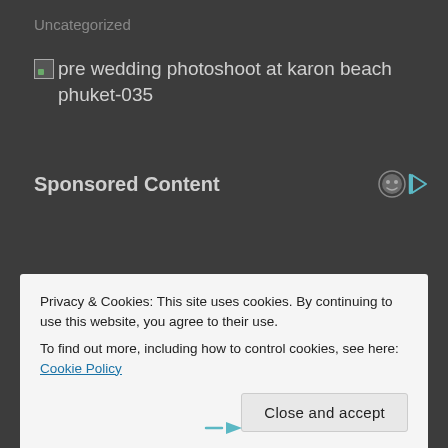Uncategorized
pre wedding photoshoot at karon beach phuket-035
Sponsored Content
Privacy & Cookies: This site uses cookies. By continuing to use this website, you agree to their use.
To find out more, including how to control cookies, see here: Cookie Policy
Close and accept